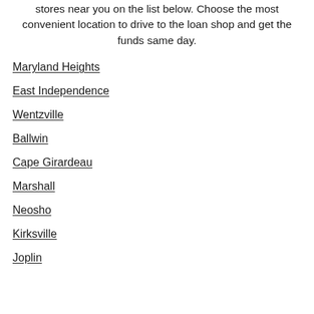stores near you on the list below. Choose the most convenient location to drive to the loan shop and get the funds same day.
Maryland Heights
East Independence
Wentzville
Ballwin
Cape Girardeau
Marshall
Neosho
Kirksville
Joplin